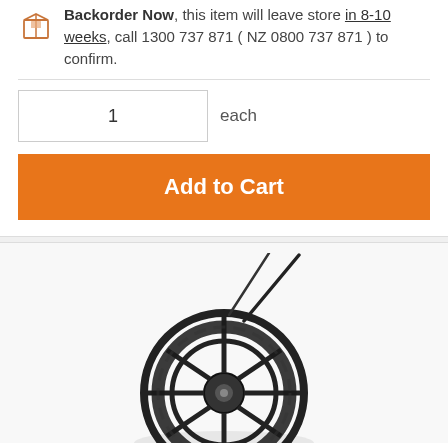Backorder Now, this item will leave store in 8-10 weeks, call 1300 737 871 ( NZ 0800 737 871 ) to confirm.
1 each
Add to Cart
[Figure (photo): A black cable reel/drum with coiled wire and two straight wire rods extending upward, viewed from a slightly elevated angle.]